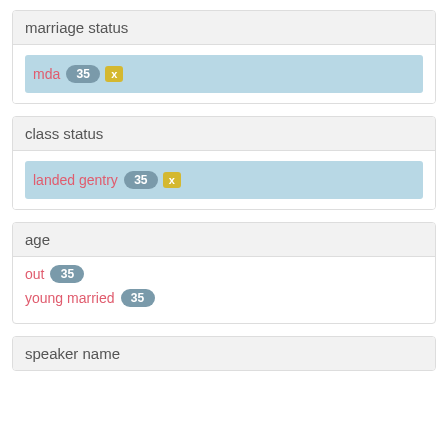marriage status
mda 35 x
class status
landed gentry 35 x
age
out 35
young married 35
speaker name